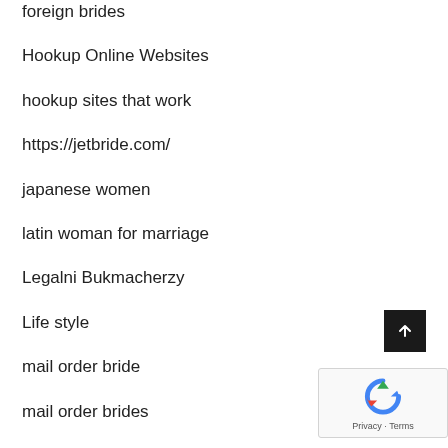foreign brides
Hookup Online Websites
hookup sites that work
https://jetbride.com/
japanese women
latin woman for marriage
Legalni Bukmacherzy
Life style
mail order bride
mail order brides
Motors